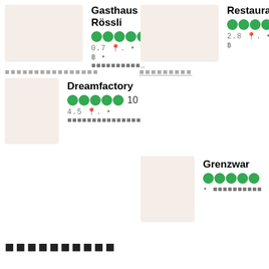Gasthaus Rössli — rating 4, 0.7 mi, ฿฿฿฿
Restauran — rating 5, 2.8 mi, ฿฿
section label (redacted)
section label (redacted)
Dreamfactory — rating 10, 4.5 mi
Grenzwar — rating 5+
██████████
filter buttons
bottom nav: ████ ██████